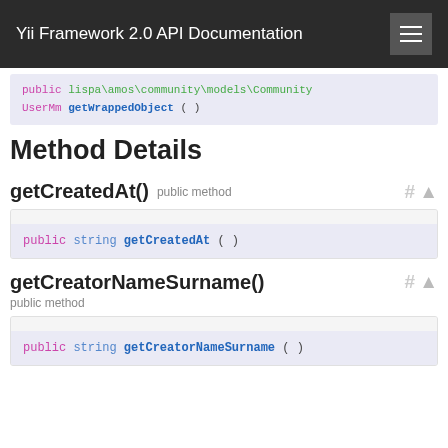Yii Framework 2.0 API Documentation
public lispa\amos\community\models\Community UserMm getWrappedObject ( )
Method Details
getCreatedAt()  public method
public string getCreatedAt ( )
getCreatorNameSurname()  public method
public string getCreatorNameSurname ( )